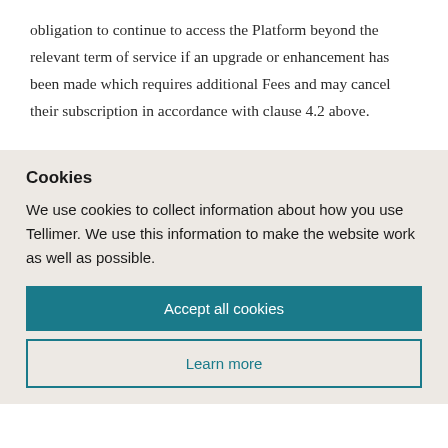obligation to continue to access the Platform beyond the relevant term of service if an upgrade or enhancement has been made which requires additional Fees and may cancel their subscription in accordance with clause 4.2 above.
Cookies
We use cookies to collect information about how you use Tellimer. We use this information to make the website work as well as possible.
Accept all cookies
Learn more